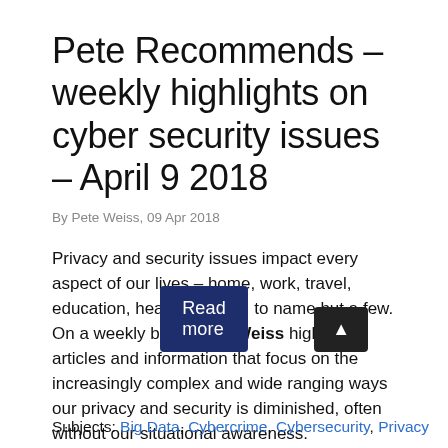Pete Recommends – weekly highlights on cyber security issues – April 9 2018
By Pete Weiss, 09 Apr 2018
Privacy and security issues impact every aspect of our lives – home, work, travel, education, health/medical, to name but a few. On a weekly basis Pete Weiss highlights articles and information that focus on the increasingly complex and wide ranging ways our privacy and security is diminished, often without our situational awareness.
Read more
Subjects: Big Data, Cybercrime, Cybersecurity, Privacy